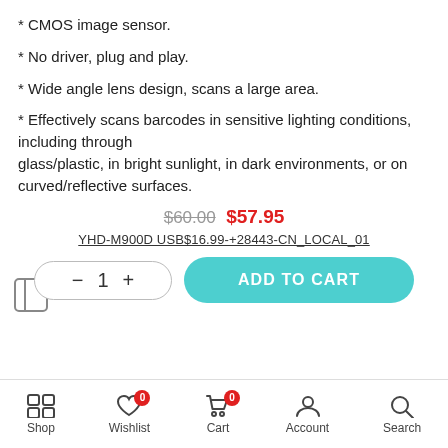* CMOS image sensor.
* No driver, plug and play.
* Wide angle lens design, scans a large area.
* Effectively scans barcodes in sensitive lighting conditions, including through glass/plastic, in bright sunlight, in dark environments, or on curved/reflective surfaces.
$60.00 $57.95
YHD-M900D USB$16.99-+28443-CN_LOCAL_01
− 1 +  ADD TO CART
Shop  Wishlist  Cart  Account  Search